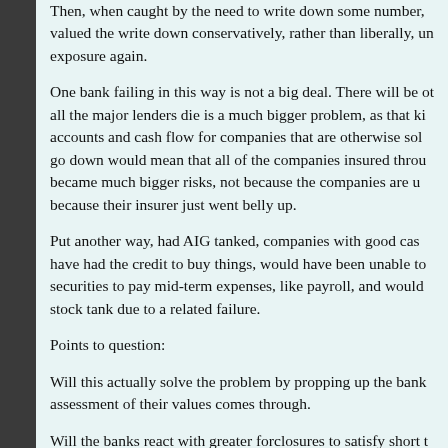Then, when caught by the need to write down some number, valued the write down conservatively, rather than liberally, under exposure again.
One bank failing in this way is not a big deal. There will be other all the major lenders die is a much bigger problem, as that kill accounts and cash flow for companies that are otherwise solv go down would mean that all of the companies insured throug became much bigger risks, not because the companies are u because their insurer just went belly up.
Put another way, had AIG tanked, companies with good cash have had the credit to buy things, would have been unable to securities to pay mid-term expenses, like payroll, and would h stock tank due to a related failure.
Points to question:
Will this actually solve the problem by propping up the banks assessment of their values comes through.
Will the banks react with greater forclosures to satisfy short te causing a bigger mortgage death spiral?